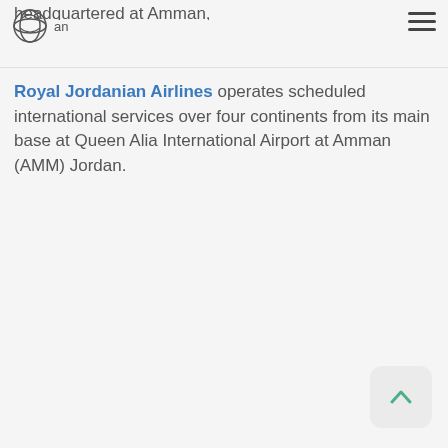Royal Jordanian Airlines
headquartered at Amman, Royal Jordanian Airlines operates scheduled international services over four continents from its main base at Queen Alia International Airport at Amman (AMM) Jordan.